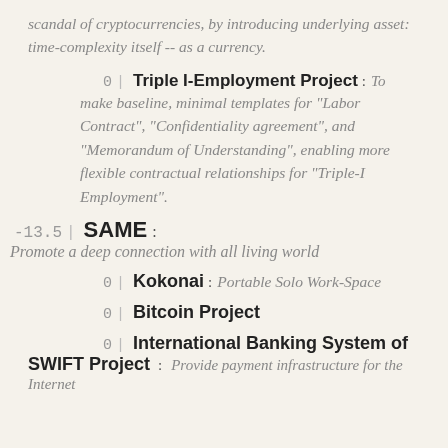scandal of cryptocurrencies, by introducing underlying asset: time-complexity itself -- as a currency.
0 | Triple I-Employment Project : To make baseline, minimal templates for "Labor Contract", "Confidentiality agreement", and "Memorandum of Understanding", enabling more flexible contractual relationships for "Triple-I Employment".
-13.5 | SAME : Promote a deep connection with all living world
0 | Kokonai : Portable Solo Work-Space
0 | Bitcoin Project
0 | International Banking System of SWIFT Project : Provide payment infrastructure for the Internet